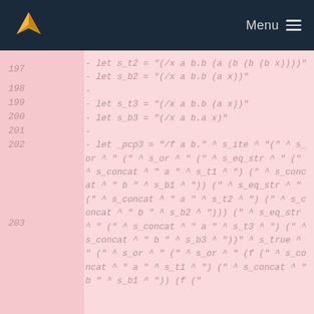Menu
197  - let s_t2 = "(/x a b.b (a (b (b (b x)))))"
198  - let s_b2 = "(/x a b.b (a x))"
199  -
200  - let s_t3 = "(/x a b.b (a x))"
201  - let s_b3 = "(/x a b.a x)"
202  -
203  - let _pcp3 = "/f a b." ^ s_ite ^ "(" ^ s_or ^ "(" ^ s_or ^ "(" ^ s_eq_str ^ "(" ^ s_concat ^ "a" ^ s_t1 ^ ") (" ^ s_concat ^ "b" ^ s_b1 ^ ")) (" ^ s_eq_str ^ "(" ^ s_concat ^ "a" ^ s_t2 ^ ") (" ^ s_concat ^ "b" ^ s_b2 ^ "))) (" ^ s_eq_str ^ "(" ^ s_concat ^ "a" ^ s_t3 ^ ") (" ^ s_concat ^ "b" ^ s_b3 ^ "))" ^ s_true ^ "(" ^ s_or ^ "(" ^ s_or ^ "(f (" ^ s_concat ^ "a" ^ s_t1 ^ ") (" ^ s_concat ^ "b" ^ s_b1 ^ ")) (f ("